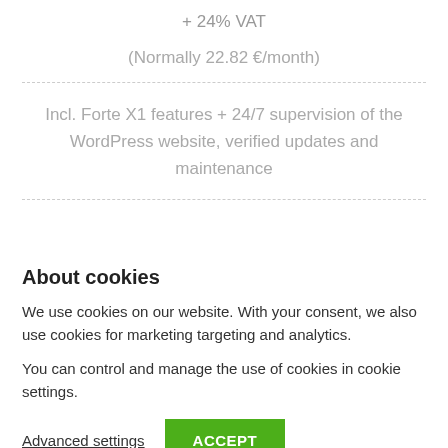+ 24% VAT
(Normally 22.82 €/month)
Incl. Forte X1 features + 24/7 supervision of the WordPress website, verified updates and maintenance
About cookies
We use cookies on our website. With your consent, we also use cookies for marketing targeting and analytics.
You can control and manage the use of cookies in cookie settings.
Advanced settings
ACCEPT